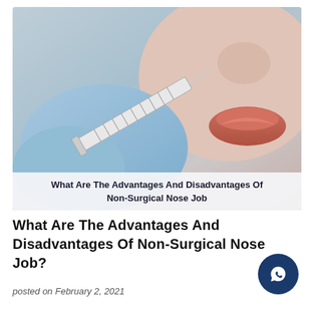[Figure (photo): Close-up photo of a medical professional in blue gloves holding a syringe near a person's nose and lips, representing a non-surgical nose job procedure. Text overlay at the bottom reads: 'What Are The Advantages And Disadvantages Of Non-Surgical Nose Job']
What Are The Advantages And Disadvantages Of Non-Surgical Nose Job?
posted on February 2, 2021